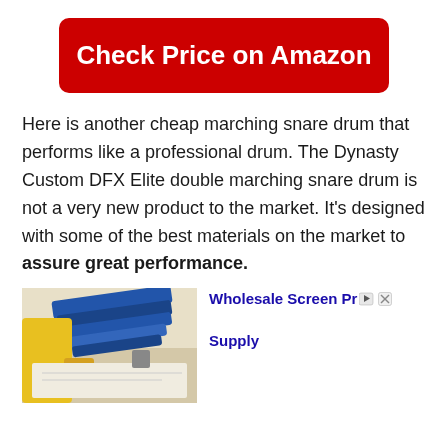[Figure (other): Red rounded button with white bold text reading 'Check Price on Amazon']
Here is another cheap marching snare drum that performs like a professional drum. The Dynasty Custom DFX Elite double marching snare drum is not a very new product to the market. It’s designed with some of the best materials on the market to assure great performance.
[Figure (photo): Person in yellow clothing working with a blue screen printing frame on a table; advertisement for Wholesale Screen Printing Supply]
Ad